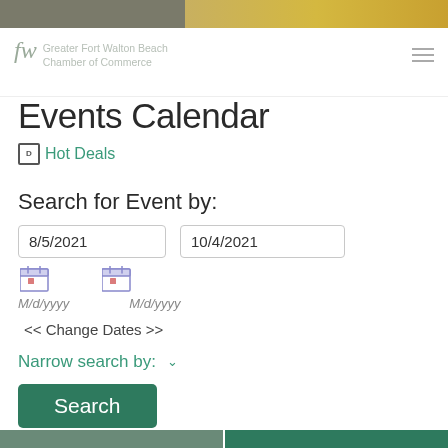Greater Fort Walton Beach Chamber of Commerce
Events Calendar
Hot Deals
Search for Event by:
8/5/2021
10/4/2021
M/d/yyyy
M/d/yyyy
<< Change Dates >>
Narrow search by: v
Search
Results Found: 89
View Full Calendar